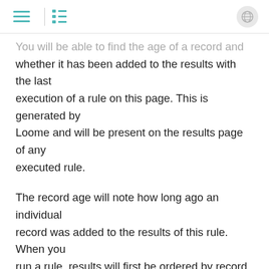[hamburger menu] | [list icon] | [globe icon]
You will be able to find the age of a record and whether it has been added to the results with the last execution of a rule on this page. This is generated by Loome and will be present on the results page of any executed rule.
The record age will note how long ago an individual record was added to the results of this rule. When you run a rule, results will first be ordered by record age, to display any new records, and then by the key column by default.
New record will state whether a row was added in the most recent execution of a rule.
In the image below, all rows of this rule were added when this rule was last run. Loome also notes when the…